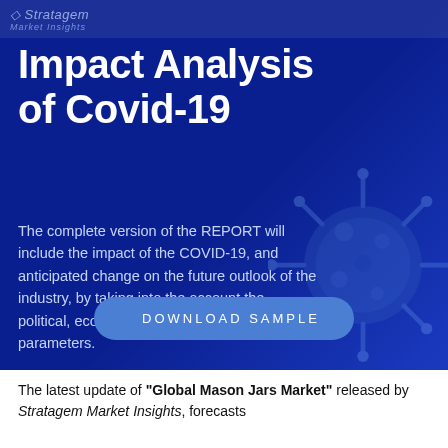Stratagem Market Insights
Impact Analysis of Covid-19
The complete version of the REPORT will include the impact of the COVID-19, and anticipated change on the future outlook of the industry, by taking into the account the political, economic, social, and technological parameters.
DOWNLOAD SAMPLE
The latest update of "Global Mason Jars Market" released by Stratagem Market Insights, forecasts